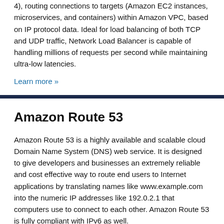4), routing connections to targets (Amazon EC2 instances, microservices, and containers) within Amazon VPC, based on IP protocol data. Ideal for load balancing of both TCP and UDP traffic, Network Load Balancer is capable of handling millions of requests per second while maintaining ultra-low latencies.
Learn more »
Amazon Route 53
Amazon Route 53 is a highly available and scalable cloud Domain Name System (DNS) web service. It is designed to give developers and businesses an extremely reliable and cost effective way to route end users to Internet applications by translating names like www.example.com into the numeric IP addresses like 192.0.2.1 that computers use to connect to each other. Amazon Route 53 is fully compliant with IPv6 as well.
Learn more »